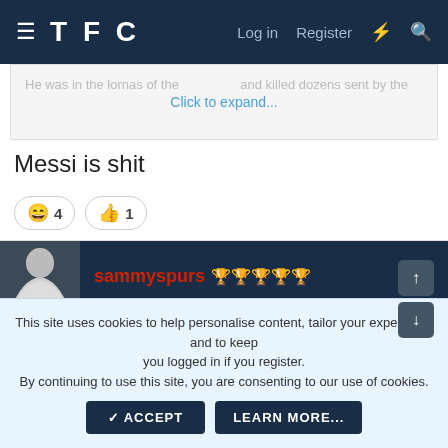TFC — Log in   Register
He was in the lornas of the ... and killed dozens sent by the... Click to expand...
Messi is shit
😄 4   👍 1
sammyspurs 🏆🏆🏆🏆🏆
26 Nov 2020   #324
Fattynomates said: ⬆
This site uses cookies to help personalise content, tailor your experience and to keep you logged in if you register.
By continuing to use this site, you are consenting to our use of cookies.
✓ ACCEPT   LEARN MORE...